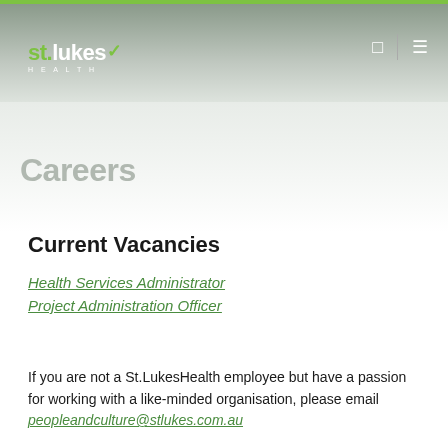[Figure (logo): St. Lukes Health logo in white on grey gradient header background with green top bar and navigation icons]
Careers
Current Vacancies
Health Services Administrator
Project Administration Officer
If you are not a St.LukesHealth employee but have a passion for working with a like-minded organisation, please email peopleandculture@stlukes.com.au